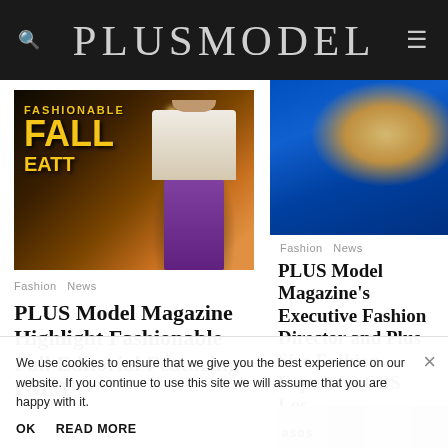PLUSMODEL
[Figure (photo): Magazine cover-style editorial photo with text 'FASHIONABLE FALL EATT' in yellow against dark background, woman in white jacket and purple pants]
Fashion   News
PLUS Model Magazine Highlight Fashionable Fall Editorial Featuring PMM
[Figure (photo): Close-up photo of woman with blonde hair wearing blue dress]
Fashion   News
PLUS Model Magazine's Executive Fashion Director and Plus Size Fashion Expert on CBS Los Angeles
We use cookies to ensure that we give you the best experience on our website. If you continue to use this site we will assume that you are happy with it.
OK   READ MORE